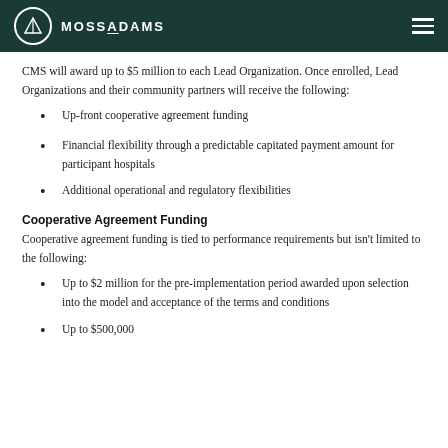MOSSADAMS
CMS will award up to $5 million to each Lead Organization. Once enrolled, Lead Organizations and their community partners will receive the following:
Up-front cooperative agreement funding
Financial flexibility through a predictable capitated payment amount for participant hospitals
Additional operational and regulatory flexibilities
Cooperative Agreement Funding
Cooperative agreement funding is tied to performance requirements but isn't limited to the following:
Up to $2 million for the pre-implementation period awarded upon selection into the model and acceptance of the terms and conditions
Up to $500,000…